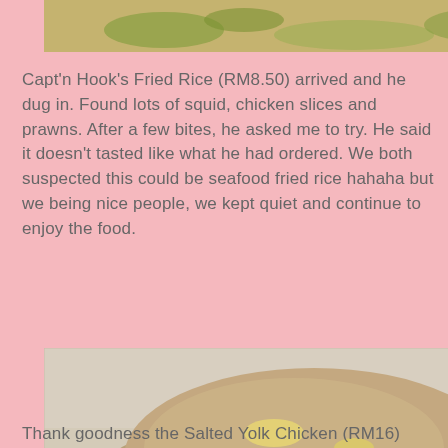[Figure (photo): Partial view of a food dish (top of page, cropped) showing green herbs/vegetables on a plate with a yellowish broth or sauce.]
Capt'n Hook's Fried Rice (RM8.50) arrived and he dug in. Found lots of squid, chicken slices and prawns. After a few bites, he asked me to try. He said it doesn't tasted like what he had ordered. We both suspected this could be seafood fried rice hahaha but we being nice people, we kept quiet and continue to enjoy the food.
[Figure (photo): A mound of fried rice served on a plate with cucumber slices and a halved egg, garnished. Watermark reads 'Babe in the City - KL'.]
Thank goodness the Salted Yolk Chicken (RM16) came as